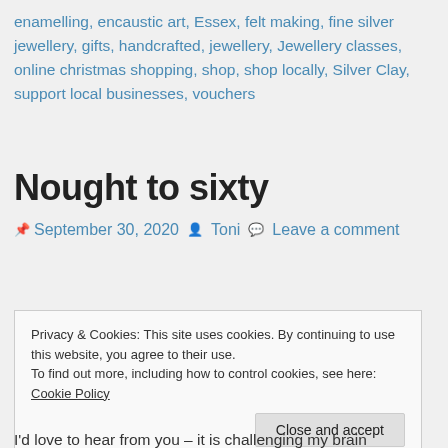enamelling, encaustic art, Essex, felt making, fine silver jewellery, gifts, handcrafted, jewellery, Jewellery classes, online christmas shopping, shop, shop locally, Silver Clay, support local businesses, vouchers
Nought to sixty
September 30, 2020  Toni  Leave a comment
Privacy & Cookies: This site uses cookies. By continuing to use this website, you agree to their use.
To find out more, including how to control cookies, see here: Cookie Policy
I'd love to hear from you – it is challenging my brain